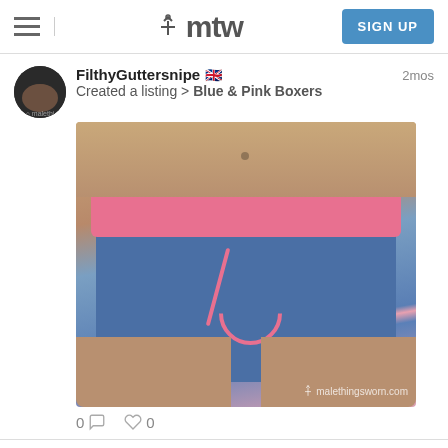mtw — SIGN UP
FilthyGuttersnipe 🇬🇧  2mos
Created a listing > Blue & Pink Boxers
[Figure (photo): Photo of person wearing blue boxer shorts with pink waistband and pink detail, watermark malethingsworn.com]
0 💬  ♡ 0
FilthyGuttersnipe 🇬🇧  2mos
Created a listing > Blue & White Crosshatch